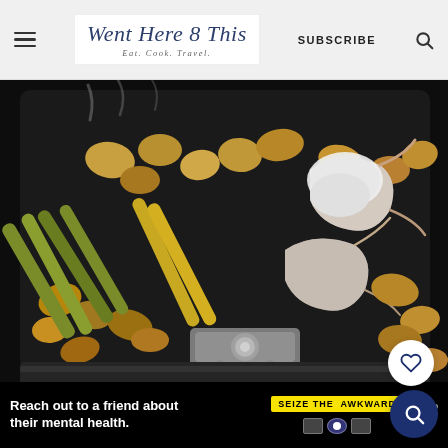Went Here 8 This — Eat. Cook. Travel. | SUBSCRIBE
[Figure (photo): Close-up photo of shrimp and roasted vegetables in a dark skillet pan, with steam visible. Food items include zucchini, root vegetables/parsnips, and large shrimp. A metal pan handle is visible at center-bottom.]
[Figure (other): White circular heart/favorite button with navy heart icon, overlaid on image bottom right]
[Figure (other): Dark navy circular search button with white magnifying glass icon]
Reach out to a friend about their mental health. SEIZE THE AWKWARD